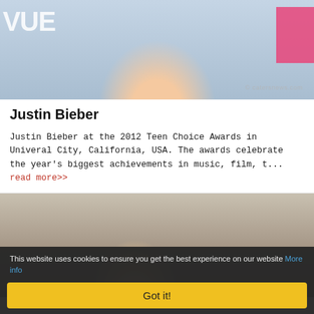[Figure (photo): Photo of Justin Bieber at an event with blue/white background, pink element on right, partial text 'VUE' visible. Watermark: © catersnews.com]
Justin Bieber
Justin Bieber at the 2012 Teen Choice Awards in Univeral City, California, USA. The awards celebrate the year's biggest achievements in music, film, t... read more>>
[Figure (photo): Photo of a blonde woman smiling at an event, with other people visible in the background]
This website uses cookies to ensure you get the best experience on our website More info
Got it!